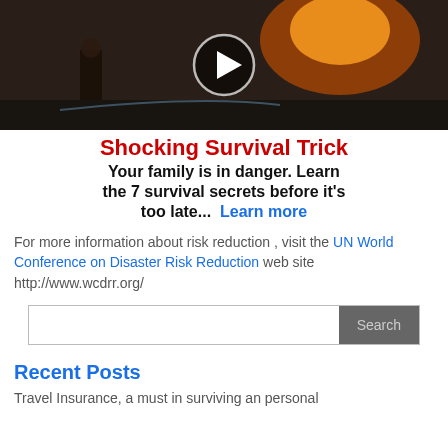[Figure (screenshot): Video thumbnail showing a person near fire/explosion scene with a play button overlay]
Shocking Survival Trick
Your family is in danger. Learn the 7 survival secrets before it's too late...  Learn more
For more information about risk reduction , visit the UN World Conference on Disaster Risk Reduction web site http://www.wcdrr.org/
Search
Recent Posts
Travel Insurance, a must in surviving an personal